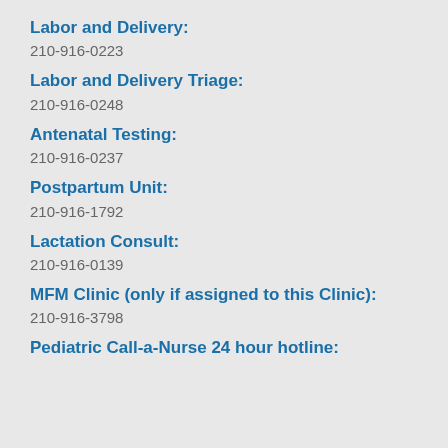Labor and Delivery:
210-916-0223
Labor and Delivery Triage:
210-916-0248
Antenatal Testing:
210-916-0237
Postpartum Unit:
210-916-1792
Lactation Consult:
210-916-0139
MFM Clinic (only if assigned to this Clinic):
210-916-3798
Pediatric Call-a-Nurse 24 hour hotline: